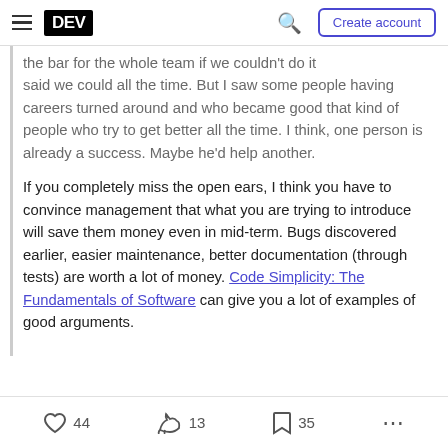DEV | Create account
the bar for the whole team if we couldn't do it said we could all the time. But I saw some people having careers turned around and who became good that kind of people who try to get better all the time. I think, one person is already a success. Maybe he'd help another.
If you completely miss the open ears, I think you have to convince management that what you are trying to introduce will save them money even in mid-term. Bugs discovered earlier, easier maintenance, better documentation (through tests) are worth a lot of money. Code Simplicity: The Fundamentals of Software can give you a lot of examples of good arguments.
44 likes  13 reactions  35 bookmarks